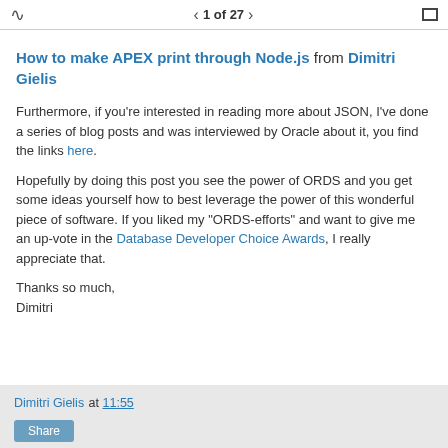1 of 27
How to make APEX print through Node.js from Dimitri Gielis
Furthermore, if you're interested in reading more about JSON, I've done a series of blog posts and was interviewed by Oracle about it, you find the links here.
Hopefully by doing this post you see the power of ORDS and you get some ideas yourself how to best leverage the power of this wonderful piece of software. If you liked my "ORDS-efforts" and want to give me an up-vote in the Database Developer Choice Awards, I really appreciate that.
Thanks so much,
Dimitri
Dimitri Gielis at 11:55
Share